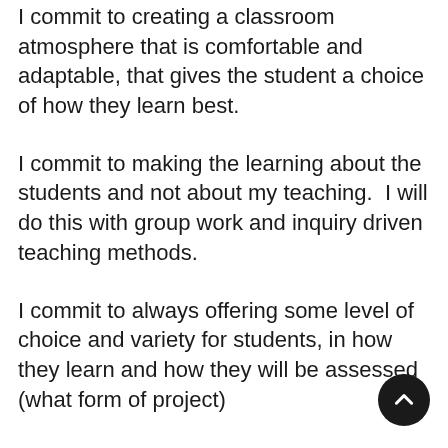I commit to creating a classroom atmosphere that is comfortable and adaptable, that gives the student a choice of how they learn best.
I commit to making the learning about the students and not about my teaching.  I will do this with group work and inquiry driven teaching methods.
I commit to always offering some level of choice and variety for students, in how they learn and how they will be assessed (what form of project)
I commit to teaching for a purpose, always asking myself, “why am I teaching this (why is this important), what do I want the students to